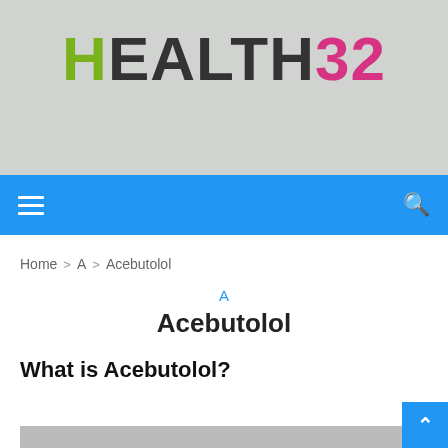[Figure (logo): HEALTH32 logo on grey background banner]
Navigation bar with hamburger menu and search icon
Home > A > Acebutolol
A
Acebutolol
What is Acebutolol?